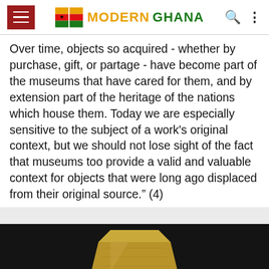Modern Ghana
Over time, objects so acquired - whether by purchase, gift, or partage - have become part of the museums that have cared for them, and by extension part of the heritage of the nations which house them. Today we are especially sensitive to the subject of a work's original context, but we should not lose sight of the fact that museums too provide a valid and valuable context for objects that were long ago displaced from their original source." (4)
[Figure (photo): Partially visible golden/bronze artifact object against a dark black background]